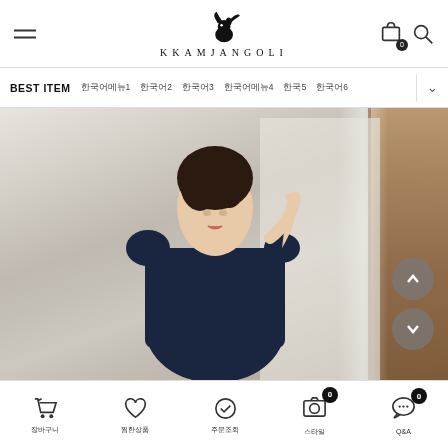KKAMJANGOLI — navigation header with logo, hamburger menu, cart and search icons
[Figure (screenshot): E-commerce website screenshot showing KKAMJANGOLI fashion brand header with logo (black squirrel), navigation menu bar with BEST ITEM and Korean categories, and a hero product photo of a woman wearing a navy blue lace dress with white ribbon tie, standing near a wooden window frame]
Bottom navigation: cart, wishlist, order check, camera, Q&A